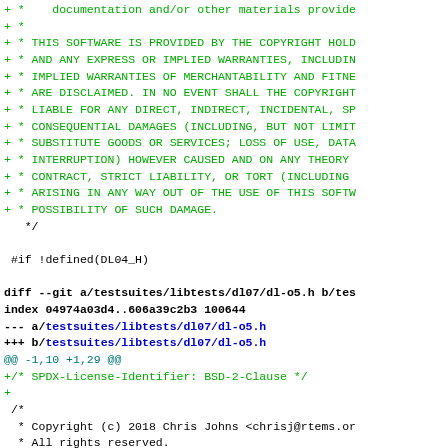Code diff showing BSD license header and git diff metadata for testsuites/libtests/dl07/dl-o5.h